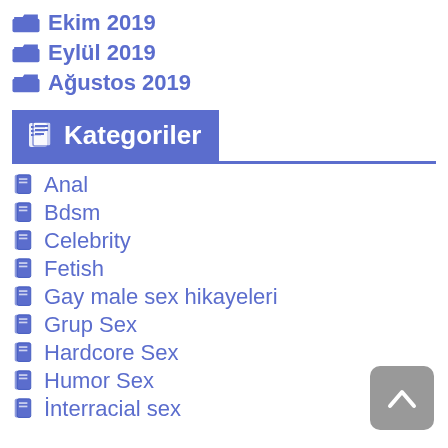Ekim 2019
Eylül 2019
Ağustos 2019
Kategoriler
Anal
Bdsm
Celebrity
Fetish
Gay male sex hikayeleri
Grup Sex
Hardcore Sex
Humor Sex
İnterracial sex